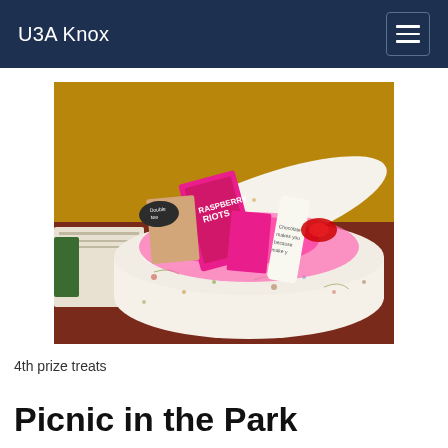U3A Knox
[Figure (photo): A decorative floral hat box filled with gift items including Raspberry Riots chocolate bar, other confectionery wrapped in pink tissue paper, sitting on a dark wooden surface.]
4th prize treats
Picnic in the Park